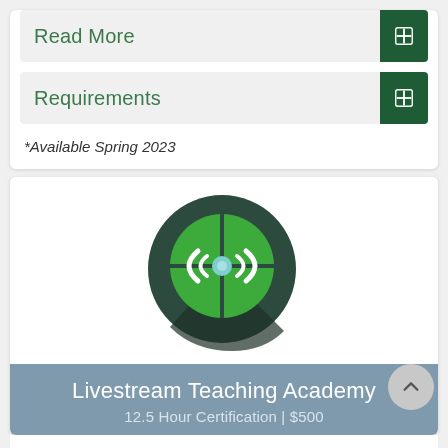Read More
Requirements
*Available Spring 2023
[Figure (logo): Circular dark green logo with a green wireless/broadcast symbol and light blue center dot, with a diagonal shadow]
Livestream Teaching Academy
12.5 Hour Certification | $500